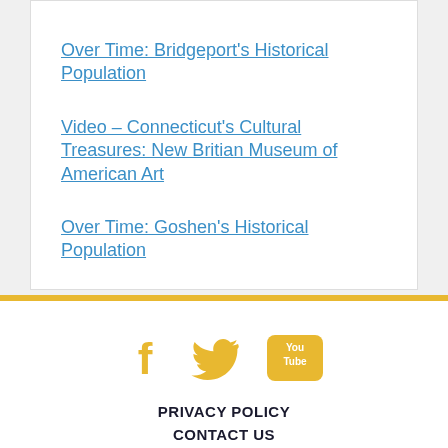Over Time: Bridgeport's Historical Population
Video – Connecticut's Cultural Treasures: New Britian Museum of American Art
Over Time: Goshen's Historical Population
[Figure (infographic): Social media icons: Facebook, Twitter, YouTube in gold/yellow color]
PRIVACY POLICY
CONTACT US
SUPPORT US